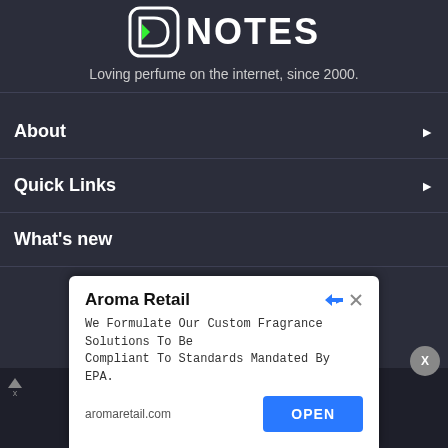[Figure (logo): Base Notes logo with green leaf D icon and white NOTES text]
Loving perfume on the internet, since 2000.
About
Quick Links
What's new
[Figure (screenshot): Aroma Retail advertisement popup: 'We Formulate Our Custom Fragrance Solutions To Be Compliant To Standards Mandated By EPA.' with OPEN button and aromaretail.com URL]